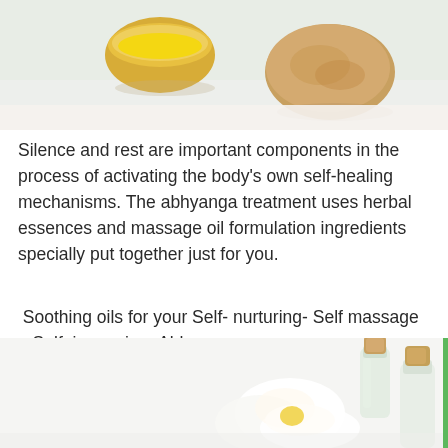[Figure (photo): Top portion of a photo showing a small bowl of yellow oil and a piece of bread or grain on a light surface]
Silence and rest are important components in the process of activating the body's own self-healing mechanisms. The abhyanga treatment uses herbal essences and massage oil formulation ingredients specially put together just for you.
Soothing oils for your Self- nurturing- Self massage – Self–improving- Abhyanga.
To Ayurveda Healing,
Kelly Krishna Dunn
[Figure (photo): Bottom portion of a photo showing glass bottles with cork stoppers and white flowers on a light background]